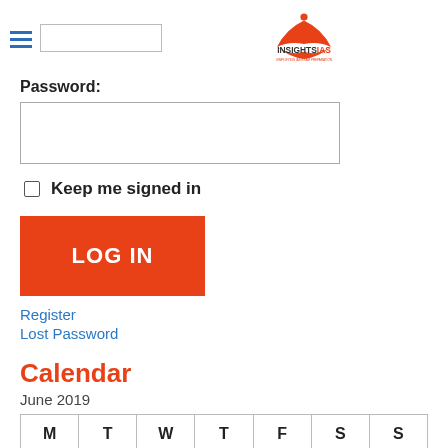[Figure (logo): InsightsIAS logo with red open book and person icon, text INSIGHTSIAS and tagline SIMPLIFYING IAS EXAM PREPARATION]
Password:
Keep me signed in
LOG IN
Register
Lost Password
Calendar
June 2019
| M | T | W | T | F | S | S |
| --- | --- | --- | --- | --- | --- | --- |
|  |  |  |  |  | 1 | 2 |
| 3 | 4 | 5 | 6 | 7 | 8 | 9 |
| 10 | 11 | 12 | 13 | 14 | 15 | 16 |